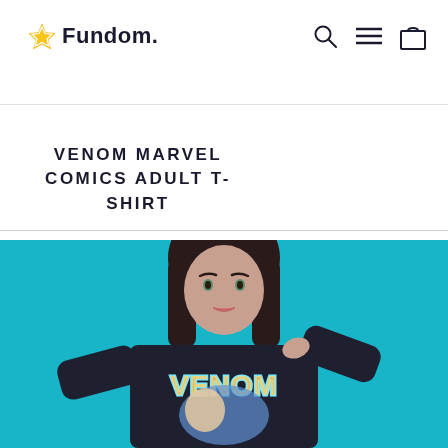Fundom.
VENOM MARVEL COMICS ADULT T-SHIRT
[Figure (photo): Product photo of a young woman with dark hair wearing a dark navy long-sleeve Venom Marvel Comics t-shirt, standing against a bright teal/cyan background. The shirt features colorful Venom graphic on the front.]